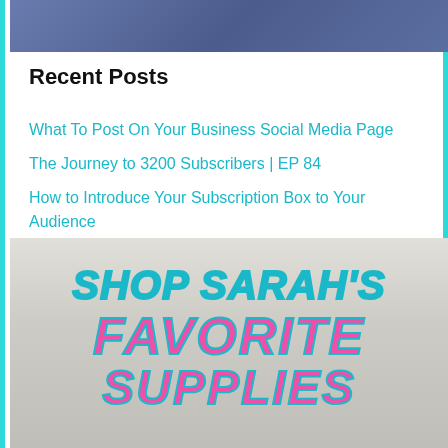[Figure (photo): Blue/purple banner image at top of sidebar]
Recent Posts
What To Post On Your Business Social Media Page
The Journey to 3200 Subscribers | EP 84
How to Introduce Your Subscription Box to Your Audience
[Figure (photo): Photo of craft supplies with overlaid text reading SHOP SARAH'S FAVORITE SUPPLIES in teal and pink bold italic letters]